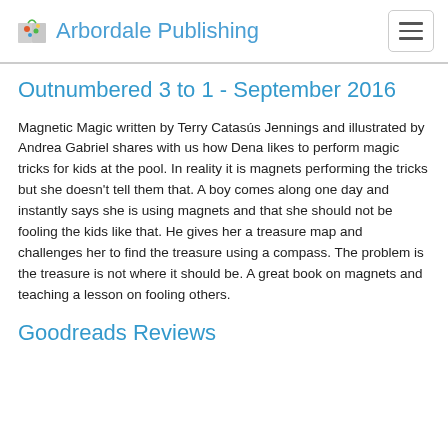Arbordale Publishing
Outnumbered 3 to 1 - September 2016
Magnetic Magic written by Terry Catasús Jennings and illustrated by Andrea Gabriel shares with us how Dena likes to perform magic tricks for kids at the pool. In reality it is magnets performing the tricks but she doesn't tell them that. A boy comes along one day and instantly says she is using magnets and that she should not be fooling the kids like that. He gives her a treasure map and challenges her to find the treasure using a compass. The problem is the treasure is not where it should be. A great book on magnets and teaching a lesson on fooling others.
Goodreads Reviews